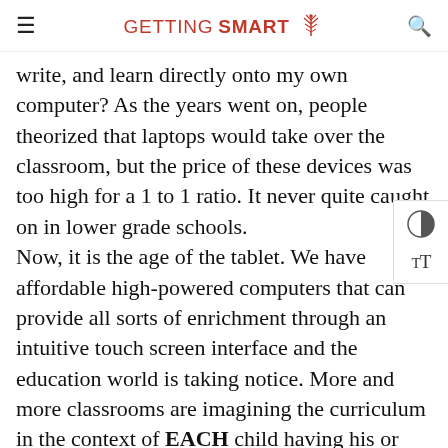GETTING SMART
write, and learn directly onto my own computer? As the years went on, people theorized that laptops would take over the classroom, but the price of these devices was too high for a 1 to 1 ratio. It never quite caught on in lower grade schools.
Now, it is the age of the tablet. We have affordable high-powered computers that can provide all sorts of enrichment through an intuitive touch screen interface and the education world is taking notice. More and more classrooms are imagining the curriculum in the context of EACH child having his or her own tablet.
Yet, some educators are still skeptical. How can